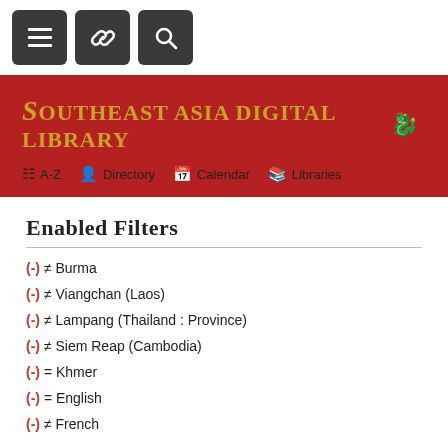[Figure (screenshot): Toolbar with three dark grey buttons: hamburger menu, link/chain icon, and search/magnifying glass icon]
[Figure (screenshot): Dark red banner header with 'Southeast Asia Digital Library' title in gold serif font with a decorative dragon icon, and navigation links: A-Z, Directory, Calendar, Libraries]
Enabled Filters
(-) ≠ Burma
(-) ≠ Viangchan (Laos)
(-) ≠ Lampang (Thailand : Province)
(-) ≠ Siem Reap (Cambodia)
(-) = Khmer
(-) = English
(-) ≠ French